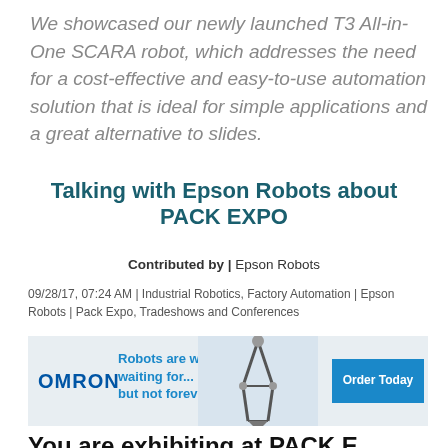We showcased our newly launched T3 All-in-One SCARA robot, which addresses the need for a cost-effective and easy-to-use automation solution that is ideal for simple applications and a great alternative to slides.
Talking with Epson Robots about PACK EXPO
Contributed by | Epson Robots
09/28/17, 07:24 AM | Industrial Robotics, Factory Automation | Epson Robots | Pack Expo, Tradeshows and Conferences
[Figure (illustration): Omron advertisement banner featuring the Omron logo, text 'Robots are worth waiting for... but not forever', an image of a robotic arm, and an 'Order Today' button.]
You are exhibiting at PACK E...